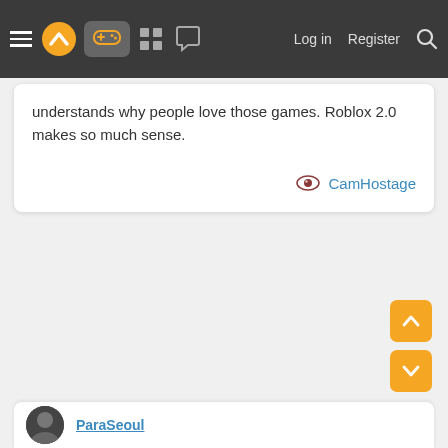Navigation bar with logo, gamepad icon, grid icon, chat icon, Log in, Register, Search
understands why people love those games. Roblox 2.0 makes so much sense.
CamHostage
[Figure (screenshot): Orange scroll-up button with upward arrow]
[Figure (screenshot): Orange scroll-down button with downward arrow]
ParaSeoul